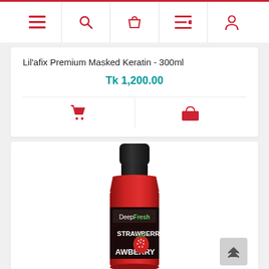Navigation bar with menu, search, cart, list, and user icons
Lil'afix Premium Masked Keratin - 300ml
Tk 1,200.00
[Figure (screenshot): DeepFresh Strawberry product bottle, red cylindrical bottle with black cap, DeepFresh brand label, strawberry text and strawberry fruit image on label]
[Figure (other): Scroll to top button with up chevron arrows]